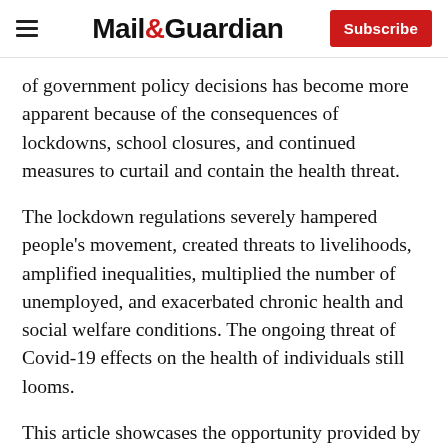Mail&Guardian | Subscribe
of government policy decisions has become more apparent because of the consequences of lockdowns, school closures, and continued measures to curtail and contain the health threat.
The lockdown regulations severely hampered people's movement, created threats to livelihoods, amplified inequalities, multiplied the number of unemployed, and exacerbated chronic health and social welfare conditions. The ongoing threat of Covid-19 effects on the health of individuals still looms.
This article showcases the opportunity provided by Southern Hemisphere, a leading socio-development agency, to build on and develop the monitoring and